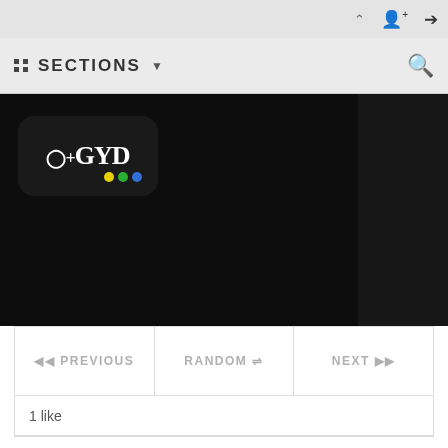SECTIONS ▾
[Figure (logo): GYD gaming website logo — dark rounded rectangle with controller plus icon and colored dots (yellow, red, blue, green)]
◄◄ PREVIOUS   RANDOM ⇌   NEXT ►►
1 like
The Evil Within: The Assignment Review
by Greg Hill on March 19, 2015